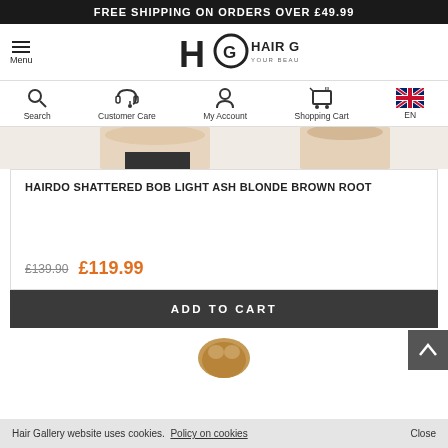FREE SHIPPING ON ORDERS OVER £49.99
[Figure (logo): Hair Gallery - Your Beauty Experts logo with HG monogram]
[Figure (screenshot): Navigation icons: Search, Customer Care, My Account, Shopping Cart (0), EN language selector with UK flag]
[Figure (photo): Partial product photo showing model wearing hair piece]
HAIRDO SHATTERED BOB LIGHT ASH BLONDE BROWN ROOT
£139.90  £119.99
ADD TO CART
[Figure (photo): Small thumbnail of hair product]
Hair Gallery website uses cookies.  Policy on cookies   Close